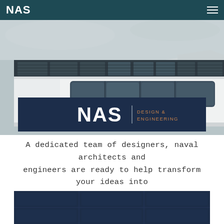NAS
[Figure (photo): Close-up of a modern superyacht exterior showing sleek white hull, panoramic dark windows, and architectural deck details against a grey sky]
[Figure (logo): NAS Design & Engineering logo on dark navy background with white NAS text and copper/orange 'DESIGN & ENGINEERING' text]
A dedicated team of designers, naval architects and engineers are ready to help transform your ideas into reality
[Figure (photo): Dark navy/blue architectural interior or vessel image, partially visible at bottom of page]